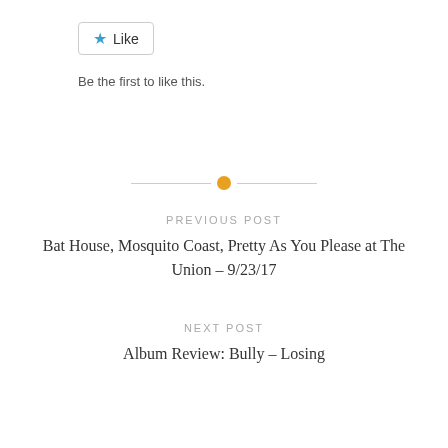[Figure (other): Like button with blue star icon and border]
Be the first to like this.
[Figure (other): Horizontal divider with orange circle dot in center]
PREVIOUS POST
Bat House, Mosquito Coast, Pretty As You Please at The Union – 9/23/17
NEXT POST
Album Review: Bully – Losing